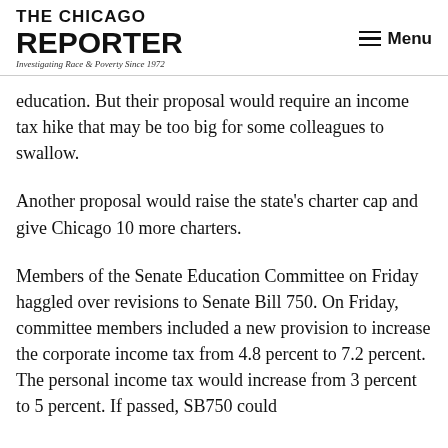THE CHICAGO REPORTER — Investigating Race & Poverty Since 1972 | Menu
education. But their proposal would require an income tax hike that may be too big for some colleagues to swallow.
Another proposal would raise the state's charter cap and give Chicago 10 more charters.
Members of the Senate Education Committee on Friday haggled over revisions to Senate Bill 750. On Friday, committee members included a new provision to increase the corporate income tax from 4.8 percent to 7.2 percent. The personal income tax would increase from 3 percent to 5 percent. If passed, SB750 could